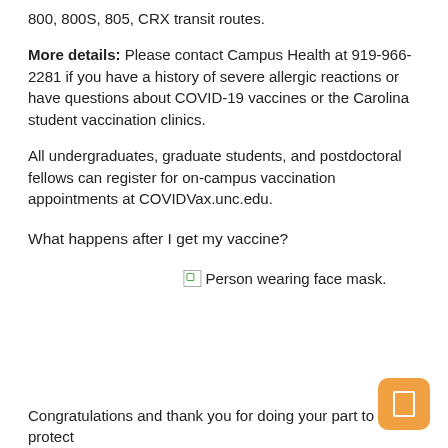800, 800S, 805, CRX transit routes.
More details: Please contact Campus Health at 919-966-2281 if you have a history of severe allergic reactions or have questions about COVID-19 vaccines or the Carolina student vaccination clinics.
All undergraduates, graduate students, and postdoctoral fellows can register for on-campus vaccination appointments at COVIDVax.unc.edu.
What happens after I get my vaccine?
[Figure (photo): Person wearing face mask.]
Congratulations and thank you for doing your part to protect